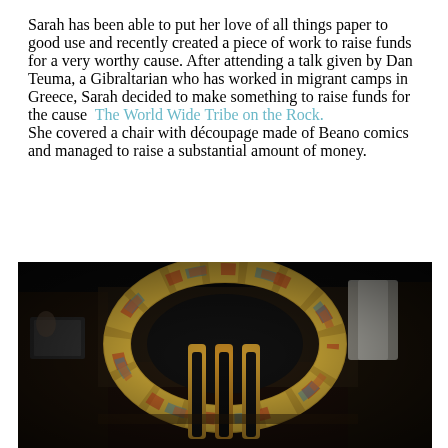Sarah has been able to put her love of all things paper to good use and recently created a piece of work to raise funds for a very worthy cause. After attending a talk given by Dan Teuma, a Gibraltarian who has worked in migrant camps in Greece, Sarah decided to make something to raise funds for the cause  The World Wide Tribe on the Rock.  She covered a chair with découpage made of Beano comics and managed to raise a substantial amount of money.
[Figure (photo): A chair covered with découpage made of Beano comics, photographed against a dark/black background. The chair back is visible with colorful comic strips covering the frame. The image has a dark, moody filter applied.]